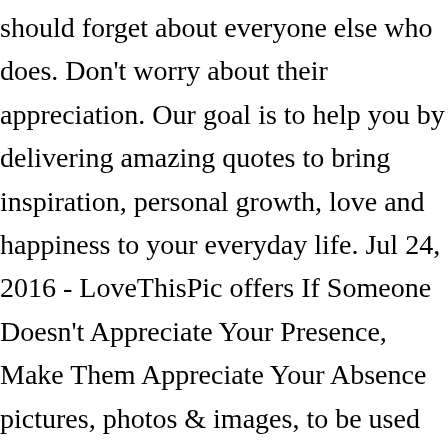should forget about everyone else who does. Don't worry about their appreciation. Our goal is to help you by delivering amazing quotes to bring inspiration, personal growth, love and happiness to your everyday life. Jul 24, 2016 - LoveThisPic offers If Someone Doesn't Appreciate Your Presence, Make Them Appreciate Your Absence pictures, photos & images, to be used on … I know, I've obviously been there too, you should see the scars on … Showing search results for "Never Allow Someone Who Doesnt Value You" sorted by relevance. It People Change Lies … Just